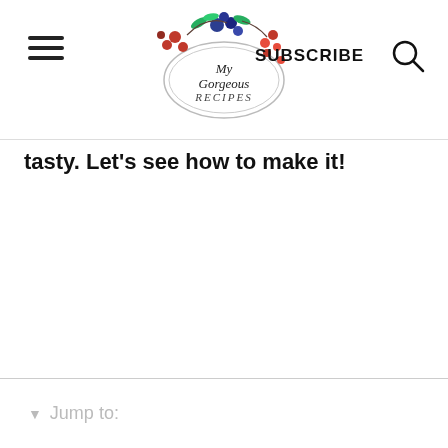My Gorgeous Recipes — SUBSCRIBE
tasty. Let's see how to make it!
▼ Jump to: